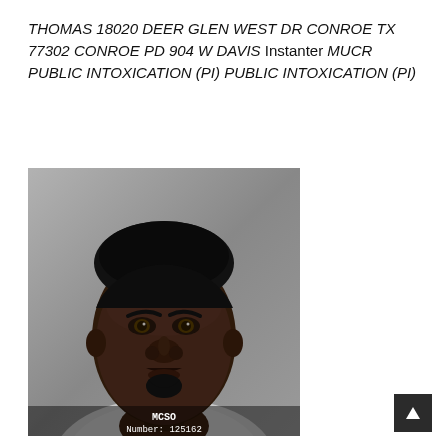THOMAS 18020 DEER GLEN WEST DR CONROE TX 77302 CONROE PD 904 W DAVIS Instanter MUCR PUBLIC INTOXICATION (PI) PUBLIC INTOXICATION (PI)
[Figure (photo): Mugshot photograph of a Black male with short hair pulled back, goatee, wearing a light-colored shirt. Photo taken against a gray background. Overlay text at bottom reads: MCSO Number: 125162]